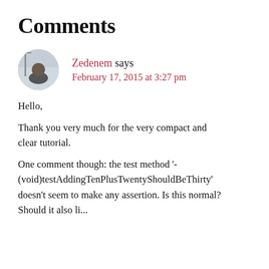Comments
Zedenem says
February 17, 2015 at 3:27 pm
Hello,
Thank you very much for the very compact and clear tutorial.
One comment though: the test method '-(void)testAddingTenPlusTwentyShouldBeThirty' doesn’t seem to make any assertion. Is this normal? Should it also li...